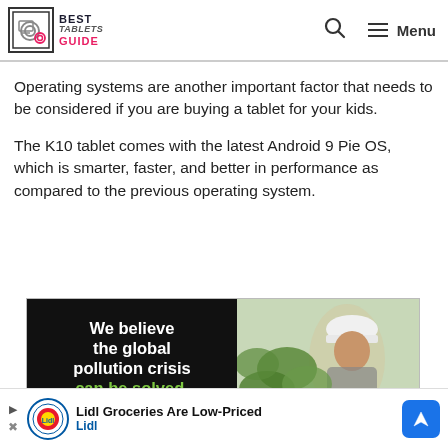BEST TABLETS GUIDE — navigation header with search and menu
Operating systems are another important factor that needs to be considered if you are buying a tablet for your kids.
The K10 tablet comes with the latest Android 9 Pie OS, which is smarter, faster, and better in performance as compared to the previous operating system.
[Figure (photo): Advertisement banner split in two: left half dark background with bold white text 'We believe the global pollution crisis' and green text 'can be solved.' Right half shows a person in a white hard hat near green leaves.]
[Figure (infographic): Bottom advertisement strip for Lidl Groceries showing Lidl logo and text 'Lidl Groceries Are Low-Priced' with blue navigation arrow icon.]